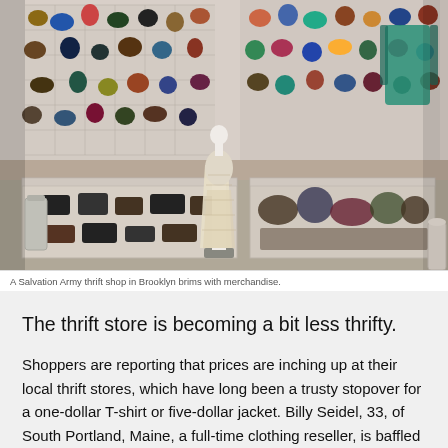[Figure (photo): Interior of a Salvation Army thrift shop in Brooklyn showing a mannequin in a beige lace gown, surrounded by glass display cases with shoes and accessories, and walls covered with hanging bags and purses.]
A Salvation Army thrift shop in Brooklyn brims with merchandise.
The thrift store is becoming a bit less thrifty.
Shoppers are reporting that prices are inching up at their local thrift stores, which have long been a trusty stopover for a one-dollar T-shirt or five-dollar jacket. Billy Seidel, 33, of South Portland, Maine, a full-time clothing reseller, is baffled by some of the prices at his region's Goodwill store lately, like...and Carhartt jacket for $50, plus a more...